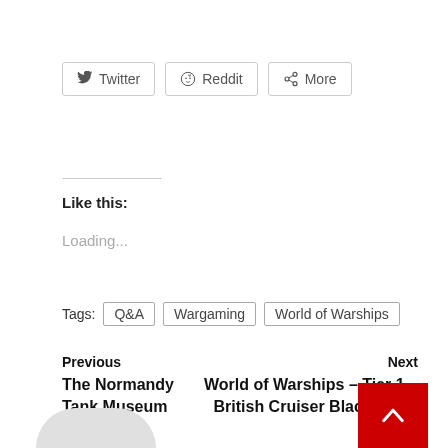[Figure (screenshot): Share buttons row: Twitter, Reddit, More]
Like this:
Loading...
Tags: Q&A  Wargaming  World of Warships
Previous
The Normandy Tank Museum
Next
World of Warships – Tier 1 – British Cruiser Black Swan Stats